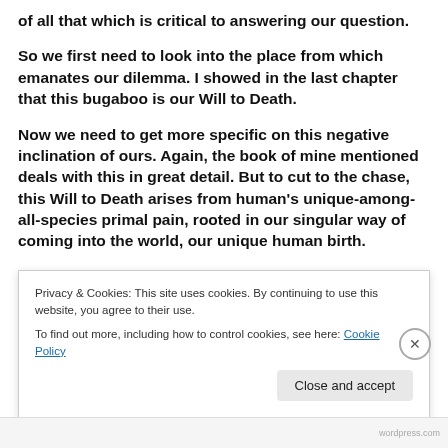of all that which is critical to answering our question.
So we first need to look into the place from which emanates our dilemma. I showed in the last chapter that this bugaboo is our Will to Death.
Now we need to get more specific on this negative inclination of ours. Again, the book of mine mentioned deals with this in great detail. But to cut to the chase, this Will to Death arises from human's unique-among-all-species primal pain, rooted in our singular way of coming into the world, our unique human birth.
Privacy & Cookies: This site uses cookies. By continuing to use this website, you agree to their use.
To find out more, including how to control cookies, see here: Cookie Policy
Close and accept